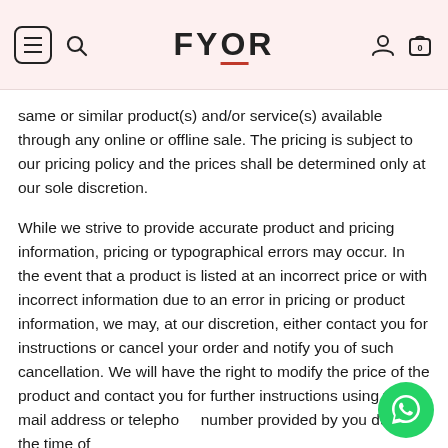FYOR
same or similar product(s) and/or service(s) available through any online or offline sale. The pricing is subject to our pricing policy and the prices shall be determined only at our sole discretion.
While we strive to provide accurate product and pricing information, pricing or typographical errors may occur. In the event that a product is listed at an incorrect price or with incorrect information due to an error in pricing or product information, we may, at our discretion, either contact you for instructions or cancel your order and notify you of such cancellation. We will have the right to modify the price of the product and contact you for further instructions using the e-mail address or telephone number provided by you during the time of